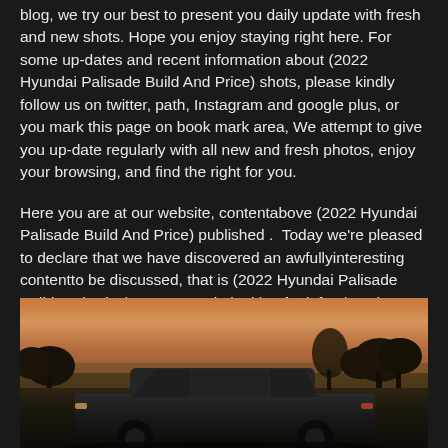blog, we try our best to present you daily update with fresh and new shots. Hope you enjoy staying right here. For some up-dates and recent information about (2022 Hyundai Palisade Build And Price) shots, please kindly follow us on twitter, path, Instagram and google plus, or you mark this page on book mark area, We attempt to give you up-date regularly with all new and fresh photos, enjoy your browsing, and find the right for you.
Here you are at our website, contentabove (2022 Hyundai Palisade Build And Price) published .  Today we're pleased to declare that we have discovered an awfullyinteresting contentto be discussed, that is (2022 Hyundai Palisade Build And Price) Some people looking for info about(2022 Hyundai Palisade Build And Price) and definitely one of them is you, is not it?
[Figure (photo): Photo of a 2022 Hyundai Palisade SUV photographed at sunset/dusk with warm orange sky and tree silhouettes in the background]